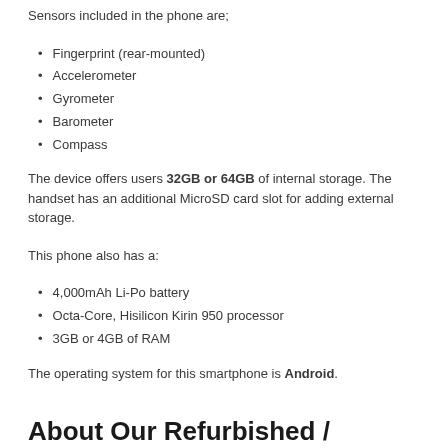Sensors included in the phone are;
Fingerprint (rear-mounted)
Accelerometer
Gyrometer
Barometer
Compass
The device offers users 32GB or 64GB of internal storage. The handset has an additional MicroSD card slot for adding external storage.
This phone also has a:
4,000mAh Li-Po battery
Octa-Core, Hisilicon Kirin 950 processor
3GB or 4GB of RAM
The operating system for this smartphone is Android.
About Our Refurbished / Unlocked Huawei Mate 8's